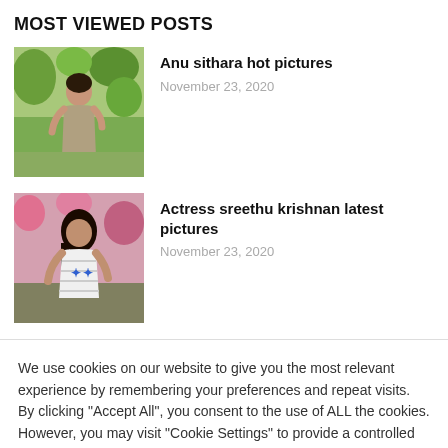MOST VIEWED POSTS
[Figure (photo): Photo of Anu sithara in a garden setting wearing a grey/beige salwar]
Anu sithara hot pictures
November 23, 2020
[Figure (photo): Photo of actress sreethu krishnan wearing a white striped t-shirt with blue star decorations]
Actress sreethu krishnan latest pictures
November 23, 2020
We use cookies on our website to give you the most relevant experience by remembering your preferences and repeat visits. By clicking "Accept All", you consent to the use of ALL the cookies. However, you may visit "Cookie Settings" to provide a controlled consent.
Cookie Settings | Accept All